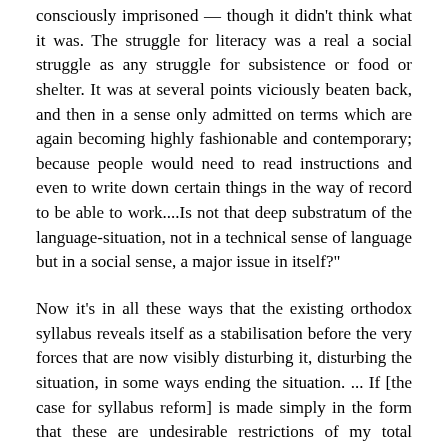consciously imprisoned — though it didn't think what it was. The struggle for literacy was a real a social struggle as any struggle for subsistence or food or shelter. It was at several points viciously beaten back, and then in a sense only admitted on terms which are again becoming highly fashionable and contemporary; because people would need to read instructions and even to write down certain things in the way of record to be able to work....Is not that deep substratum of the language-situation, not in a technical sense of language but in a social sense, a major issue in itself?"
Now it's in all these ways that the existing orthodox syllabus reveals itself as a stabilisation before the very forces that are now visibly disturbing it, disturbing the situation, in some ways ending the situation. ... If [the case for syllabus reform] is made simply in the form that these are undesirable restrictions of my total individual freedom of choice, then it will not get through because it concedes too much. It concedes the notion that we have some common responsibility to knowledge and its maintenance; it concedes the sens of a certain necessary organisation as a basis for much more individual choice and options which lead out from that. The case is stronger when it doesn't concede these points, which are almost the only serious points left to the defenders of the status quo; and they defend it the more easily if the challenge is not an intellectual one, with the